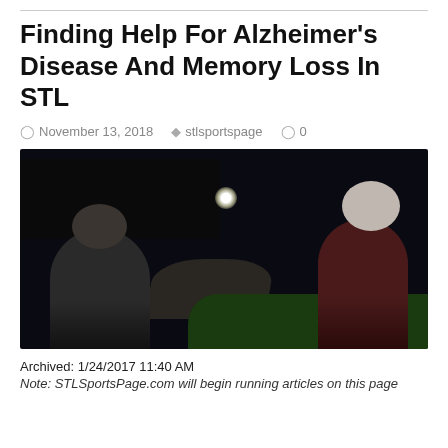Finding Help For Alzheimer's Disease And Memory Loss In STL
November 13, 2018   stlsportspage   0
[Figure (photo): Nighttime photo of two elderly people seen from behind, sitting outdoors looking at a moonlit sky with trees in the background and a green lawn to the right.]
Archived: 1/24/2017 11:40 AM
Note: STLSportsPage.com will begin running articles on this page